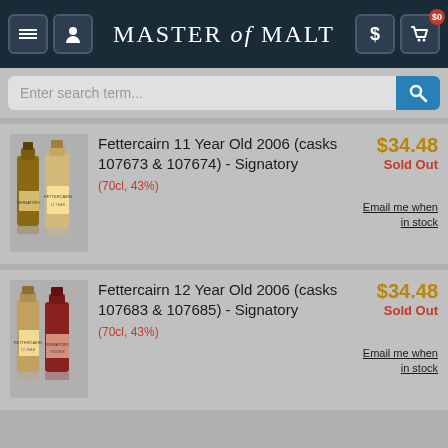Master of Malt
Enter search term...
Fettercairn 11 Year Old 2006 (casks 107673 & 107674) - Signatory (70cl, 43%) $34.48 Sold Out Email me when in stock
Fettercairn 12 Year Old 2006 (casks 107683 & 107685) - Signatory (70cl, 43%) $34.48 Sold Out Email me when in stock